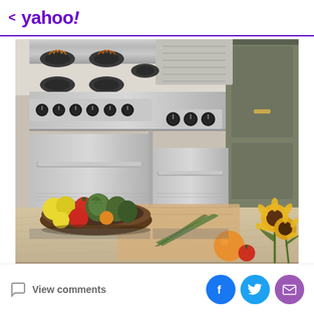< yahoo!
[Figure (photo): Kitchen scene with a large stainless steel professional range/oven with multiple burners and black knobs. In the foreground is a wooden counter with a brown bowl containing vegetables and fruits including artichokes, tomatoes, and lemons. Sunflowers and an orange are visible on the right side. Green cabinets are partially visible on the right.]
View comments
[Figure (other): Social sharing icons: Facebook (blue circle with f), Twitter (blue circle with bird), Email (purple circle with envelope)]